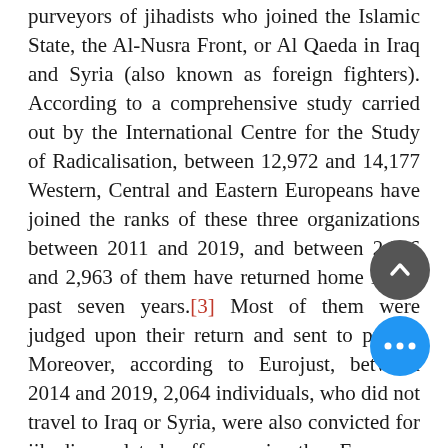purveyors of jihadists who joined the Islamic State, the Al-Nusra Front, or Al Qaeda in Iraq and Syria (also known as foreign fighters). According to a comprehensive study carried out by the International Centre for the Study of Radicalisation, between 12,972 and 14,177 Western, Central and Eastern Europeans have joined the ranks of these three organizations between 2011 and 2019, and between 2,816 and 2,963 of them have returned home in the past seven years.[3] Most of them were judged upon their return and sent to prison. Moreover, according to Eurojust, between 2014 and 2019, 2,064 individuals, who did not travel to Iraq or Syria, were also convicted for jihadism-related offenses in the European Union.[4]

The average conviction in Euro... jihadist-inspired terrorism ... consistently increased from 5.8 years in